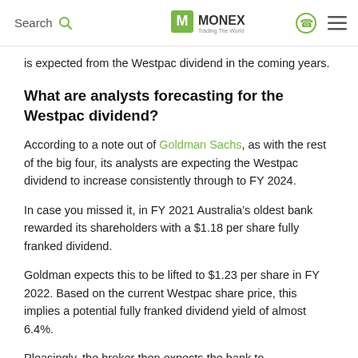Search | MONEX Trading The World
is expected from the Westpac dividend in the coming years.
What are analysts forecasting for the Westpac dividend?
According to a note out of Goldman Sachs, as with the rest of the big four, its analysts are expecting the Westpac dividend to increase consistently through to FY 2024.
In case you missed it, in FY 2021 Australia’s oldest bank rewarded its shareholders with a $1.18 per share fully franked dividend.
Goldman expects this to be lifted to $1.23 per share in FY 2022. Based on the current Westpac share price, this implies a potential fully franked dividend yield of almost 6.4%.
Pleasingly, the broker then expects the bank to